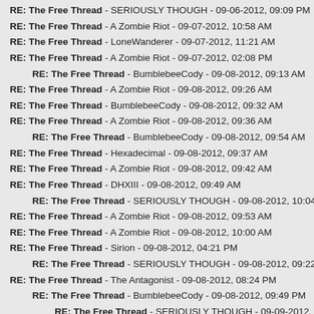RE: The Free Thread - SERIOUSLY THOUGH - 09-06-2012, 09:09 PM
RE: The Free Thread - A Zombie Riot - 09-07-2012, 10:58 AM
RE: The Free Thread - LoneWanderer - 09-07-2012, 11:21 AM
RE: The Free Thread - A Zombie Riot - 09-07-2012, 02:08 PM
RE: The Free Thread - BumblebeeCody - 09-08-2012, 09:13 AM (indent1)
RE: The Free Thread - A Zombie Riot - 09-08-2012, 09:26 AM
RE: The Free Thread - BumblebeeCody - 09-08-2012, 09:32 AM
RE: The Free Thread - A Zombie Riot - 09-08-2012, 09:36 AM
RE: The Free Thread - BumblebeeCody - 09-08-2012, 09:54 AM (indent1)
RE: The Free Thread - Hexadecimal - 09-08-2012, 09:37 AM
RE: The Free Thread - A Zombie Riot - 09-08-2012, 09:42 AM
RE: The Free Thread - DHXIII - 09-08-2012, 09:49 AM
RE: The Free Thread - SERIOUSLY THOUGH - 09-08-2012, 10:04 AM (indent1)
RE: The Free Thread - A Zombie Riot - 09-08-2012, 09:53 AM
RE: The Free Thread - A Zombie Riot - 09-08-2012, 10:00 AM
RE: The Free Thread - Sirion - 09-08-2012, 04:21 PM
RE: The Free Thread - SERIOUSLY THOUGH - 09-08-2012, 09:22 PM (indent1)
RE: The Free Thread - The Antagonist - 09-08-2012, 08:24 PM
RE: The Free Thread - BumblebeeCody - 09-08-2012, 09:49 PM (indent1)
RE: The Free Thread - SERIOUSLY THOUGH - 09-09-2012, 01:38 AM (indent2)
RE: The Free Thread - zinja - 09-09-2012, 12:54 AM
RE: The Free Thread - BumblebeeCody - 09-09-2012, 02:20 AM (indent1)
RE: The Free Thread - Hexadecimal - 09-09-2012, 02:12 AM
RE: The Free Thread - SERIOUSLY THOUGH - 09-09-2012, 02:17 AM (indent1)
RE: The Free Thread - Mr.Katana - 09-09-2012, 04:43 AM